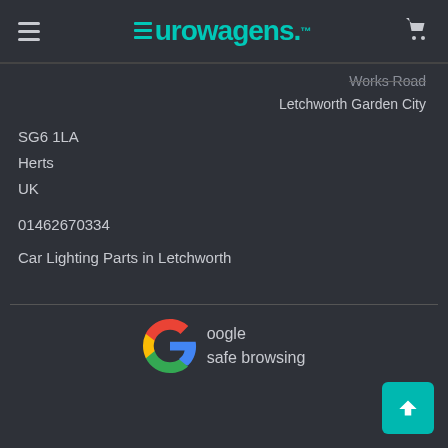Eurowagens.
Works Road
Letchworth Garden City
SG6 1LA
Herts
UK
01462670334
Car Lighting Parts in Letchworth
[Figure (logo): Google Safe Browsing logo with multicolor G icon and text 'Google safe browsing']